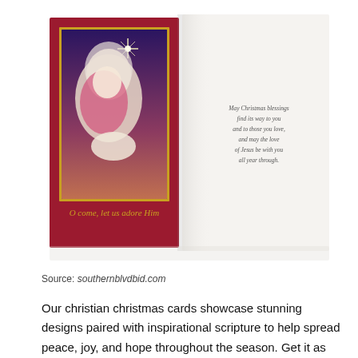[Figure (photo): A Christmas greeting card shown front and inside. The front cover has a dark red background with a painting of the Virgin Mary holding baby Jesus under a bright star, with gold script text reading 'O come, let us adore Him'. The inside panel shows italic script text on white background.]
Source: southernblvdbid.com
Our christian christmas cards showcase stunning designs paired with inspirational scripture to help spread peace, joy, and hope throughout the season. Get it as soon as tue,